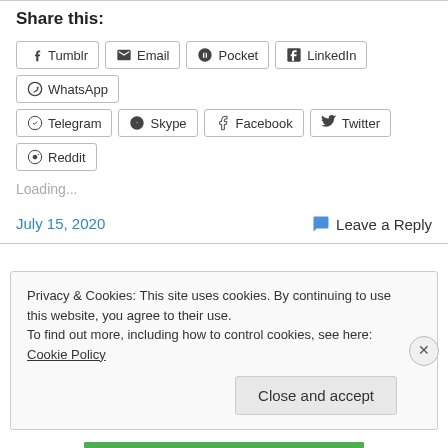Share this:
Tumblr  Email  Pocket  LinkedIn  WhatsApp  Telegram  Skype  Facebook  Twitter  Reddit
Loading...
July 15, 2020
Leave a Reply
Privacy & Cookies: This site uses cookies. By continuing to use this website, you agree to their use.
To find out more, including how to control cookies, see here: Cookie Policy
Close and accept